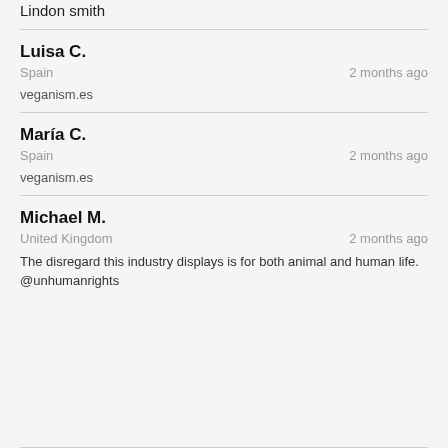Lindon smith
Luisa C. | Spain | 2 months ago | veganism.es
María C. | Spain | 2 months ago | veganism.es
Michael M. | United Kingdom | 2 months ago | The disregard this industry displays is for both animal and human life. @unhumanrights